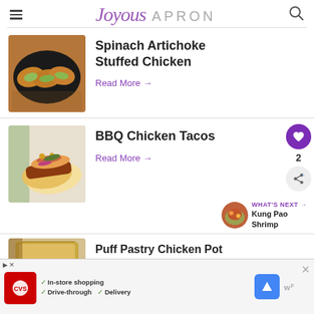Joyous APRON
Spinach Artichoke Stuffed Chicken
Read More →
BBQ Chicken Tacos
Read More →
WHAT'S NEXT → Kung Pao Shrimp
Puff Pastry Chicken Pot
[Figure (screenshot): Ad banner for CVS Pharmacy with in-store shopping, drive-through, and delivery options]